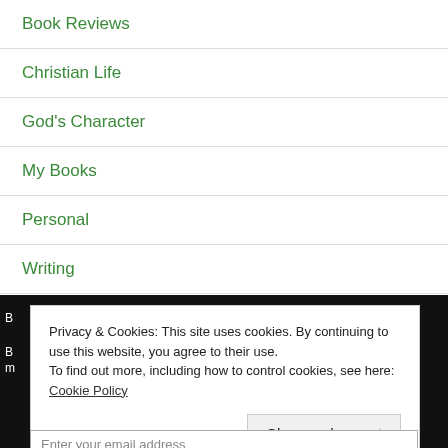Book Reviews
Christian Life
God's Character
My Books
Personal
Writing
Privacy & Cookies: This site uses cookies. By continuing to use this website, you agree to their use.
To find out more, including how to control cookies, see here: Cookie Policy
Close and accept
Enter your email address